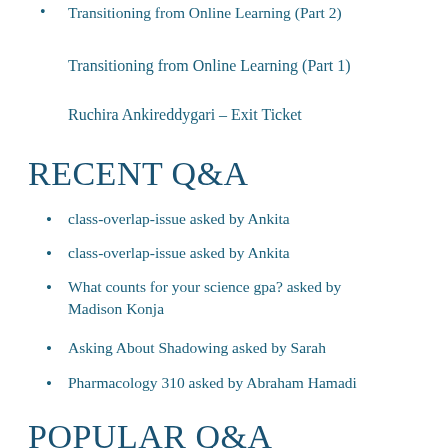Transitioning from Online Learning (Part 2)
Transitioning from Online Learning (Part 1)
Ruchira Ankireddygari – Exit Ticket
RECENT Q&A
class-overlap-issue asked by Ankita
class-overlap-issue asked by Ankita
What counts for your science gpa? asked by Madison Konja
Asking About Shadowing asked by Sarah
Pharmacology 310 asked by Abraham Hamadi
POPULAR Q&A